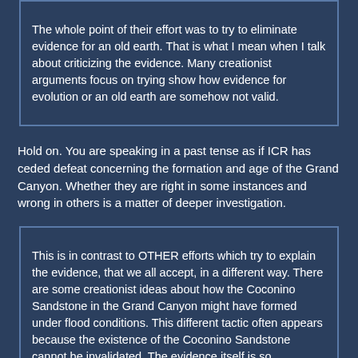The whole point of their effort was to try to eliminate evidence for an old earth. That is what I mean when I talk about criticizing the evidence. Many creationist arguments focus on trying show how evidence for evolution or an old earth are somehow not valid.
Hold on. You are speaking in a past tense as if ICR has ceded defeat concerning the formation and age of the Grand Canyon. Whether they are right in some instances and wrong in others is a matter of deeper investigation.
This is in contrast to OTHER efforts which try to explain the evidence, that we all accept, in a different way. There are some creationist ideas about how the Coconino Sandstone in the Grand Canyon might have formed under flood conditions. This different tactic often appears because the existence of the Coconino Sandstone cannot be invalidated. The evidence itself is so